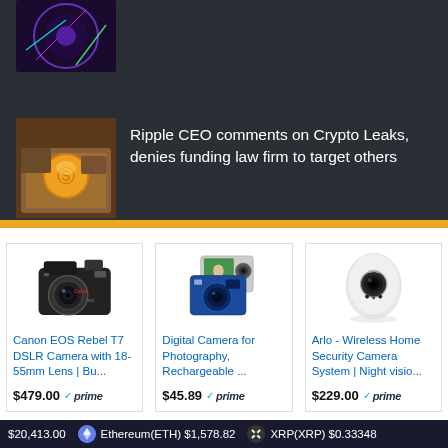[Figure (screenshot): Top image strip - partially visible colorful graphic with neon lights]
[Figure (photo): Thumbnail image of crypto/coin character illustration]
Ripple CEO comments on Crypto Leaks, denies funding law firm to target others
[Figure (photo): Canon EOS Rebel T7 DSLR camera product photo]
Canon EOS Rebel T7 DSLR Camera with 18-55mm Lens | Bu... $479.00 prime
[Figure (photo): Digital camera for photography product photo]
Digital Camera for Photography, Rechargeable ... $45.89 prime
[Figure (photo): Arlo wireless home security camera product photo]
Arlo - Wireless Home Security Camera System | Night visio... $229.00 prime
$20,413.00  Ethereum(ETH) $1,578.82  XRP(XRP) $0.33348